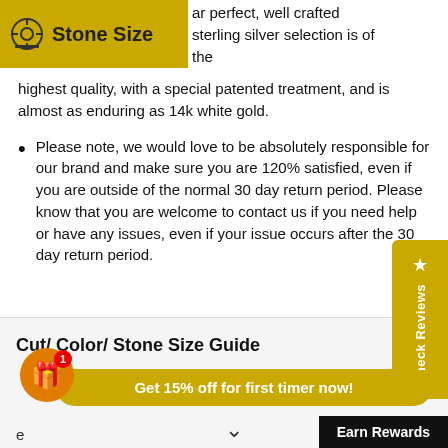Stone Size
ar perfect, well crafted sterling silver selection is of the highest quality, with a special patented treatment, and is almost as enduring as 14k white gold.
Please note, we would love to be absolutely responsible for our brand and make sure you are 120% satisfied, even if you are outside of the normal 30 day return period. Please know that you are welcome to contact us if you need help or have any issues, even if your issue occurs after the 30 day return period.
Cut/ Color/ Stone Size Guide
Get 15% off for first timer now!
Earn Rewards